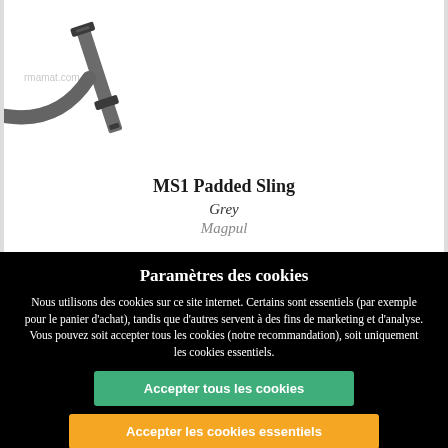[Figure (photo): Product photo of MS1 Padded Sling in grey color — a tactical rifle sling with adjustable straps and buckles, shown on white background]
MS1 Padded Sling
Grey
Magpul
Paramètres des cookies
Nous utilisons des cookies sur ce site internet. Certains sont essentiels (par exemple pour le panier d'achat), tandis que d'autres servent à des fins de marketing et d'analyse. Vous pouvez soit accepter tous les cookies (notre recommandation), soit uniquement les cookies essentiels.
Accepter tous les cookies
Accepter les cookies essentiels
Refuser les cookies